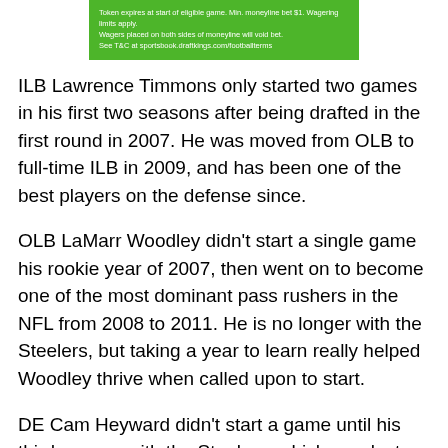[Figure (other): Green DraftKings advertisement banner with white text showing terms and conditions]
ILB Lawrence Timmons only started two games in his first two seasons after being drafted in the first round in 2007. He was moved from OLB to full-time ILB in 2009, and has been one of the best players on the defense since.
OLB LaMarr Woodley didn't start a single game his rookie year of 2007, then went on to become one of the most dominant pass rushers in the NFL from 2008 to 2011. He is no longer with the Steelers, but taking a year to learn really helped Woodley thrive when called upon to start.
DE Cam Heyward didn't start a game until his third season with the Steelers, which was last year. After